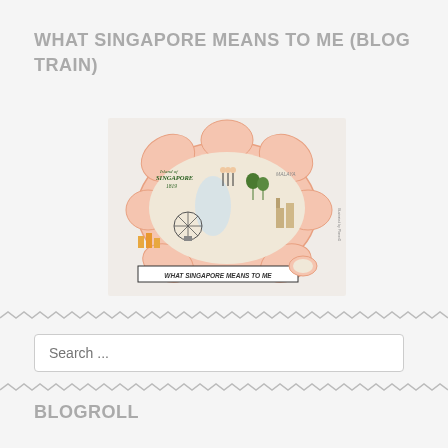WHAT SINGAPORE MEANS TO ME (BLOG TRAIN)
[Figure (illustration): Illustrated hand-drawn map of Singapore titled 'What Singapore Means To Me', showing various landmarks, cultural icons, and scenes around the island shaped like a flower. Text labels include 'Island of Singapore 1819', 'MALAYA', and a banner at the bottom reading 'WHAT SINGAPORE MEANS TO ME'.]
Search ...
BLOGROLL